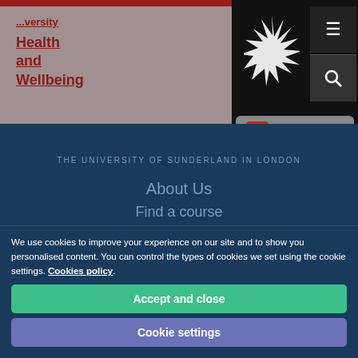Health and Wellbeing
[Figure (logo): University of Sunderland starburst logo on black background]
[Figure (screenshot): Accessibility button with 'me' icon and ACCESSIBILITY label]
THE UNIVERSITY OF SUNDERLAND IN LONDON
About Us
Find a course
We use cookies to improve your experience on our site and to show you personalised content. You can control the types of cookies we set using the cookie settings. Cookies policy
Accept and close
Cookie settings